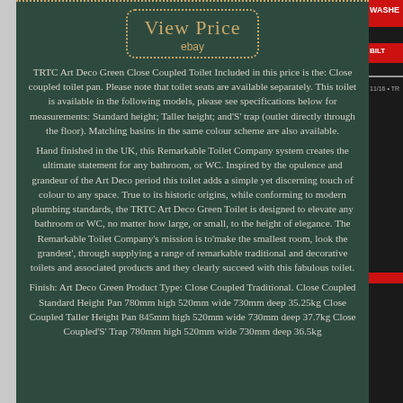[Figure (other): View Price button with dotted border and eBay label on dark green background]
TRTC Art Deco Green Close Coupled Toilet Included in this price is the: Close coupled toilet pan. Please note that toilet seats are available separately. This toilet is available in the following models, please see specifications below for measurements: Standard height; Taller height; and'S' trap (outlet directly through the floor). Matching basins in the same colour scheme are also available.
Hand finished in the UK, this Remarkable Toilet Company system creates the ultimate statement for any bathroom, or WC. Inspired by the opulence and grandeur of the Art Deco period this toilet adds a simple yet discerning touch of colour to any space. True to its historic origins, while conforming to modern plumbing standards, the TRTC Art Deco Green Toilet is designed to elevate any bathroom or WC, no matter how large, or small, to the height of elegance. The Remarkable Toilet Company's mission is to'make the smallest room, look the grandest', through supplying a range of remarkable traditional and decorative toilets and associated products and they clearly succeed with this fabulous toilet.
Finish: Art Deco Green Product Type: Close Coupled Traditional. Close Coupled Standard Height Pan 780mm high 520mm wide 730mm deep 35.25kg Close Coupled Taller Height Pan 845mm high 520mm wide 730mm deep 37.7kg Close Coupled'S' Trap 780mm high 520mm wide 730mm deep 36.5kg